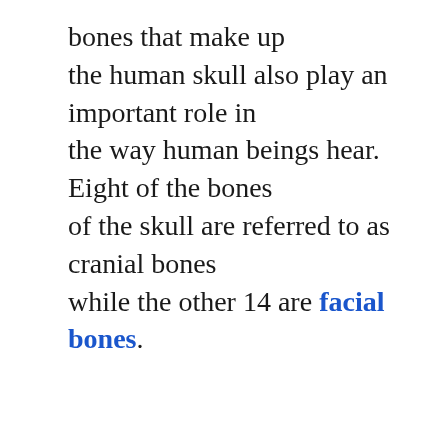bones that make up the human skull also play an important role in the way human beings hear. Eight of the bones of the skull are referred to as cranial bones while the other 14 are facial bones.